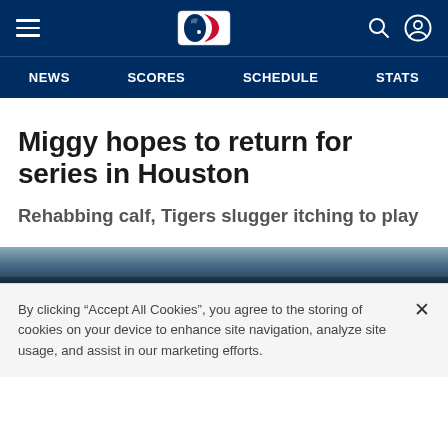MLB navigation header with hamburger menu, MLB logo, search and user icons
NEWS   SCORES   SCHEDULE   STATS
Miggy hopes to return for series in Houston
Rehabbing calf, Tigers slugger itching to play
[Figure (photo): Partial view of a baseball player photo, cropped at bottom of page]
By clicking “Accept All Cookies”, you agree to the storing of cookies on your device to enhance site navigation, analyze site usage, and assist in our marketing efforts.